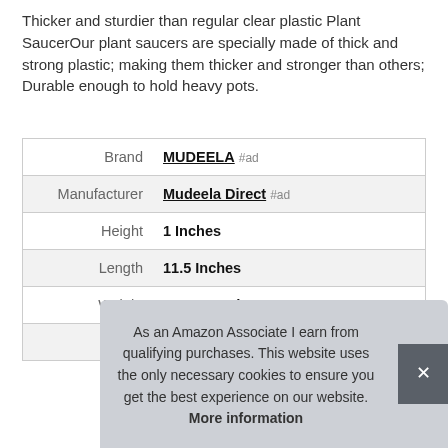Thicker and sturdier than regular clear plastic Plant SaucerOur plant saucers are specially made of thick and strong plastic; making them thicker and stronger than others; Durable enough to hold heavy pots.
|  |  |
| --- | --- |
| Brand | MUDEELA #ad |
| Manufacturer | Mudeela Direct #ad |
| Height | 1 Inches |
| Length | 11.5 Inches |
| Weight | 1.17 Pounds |
| Width | 11.5 Inches |
As an Amazon Associate I earn from qualifying purchases. This website uses the only necessary cookies to ensure you get the best experience on our website. More information